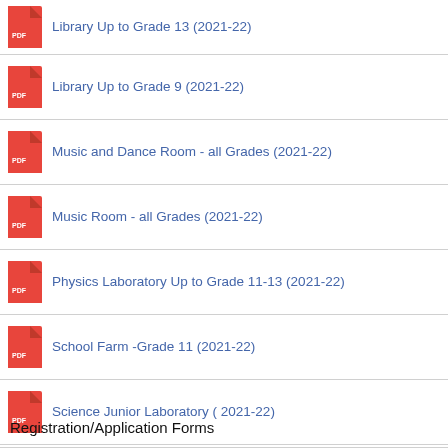Library Up to Grade 13 (2021-22)
Library Up to Grade 9 (2021-22)
Music and Dance Room - all Grades (2021-22)
Music Room - all Grades (2021-22)
Physics Laboratory Up to Grade 11-13 (2021-22)
School Farm -Grade 11 (2021-22)
Science Junior Laboratory ( 2021-22)
Sports and Recreational Facilities in Schools (2021-22)
Registration/Application Forms